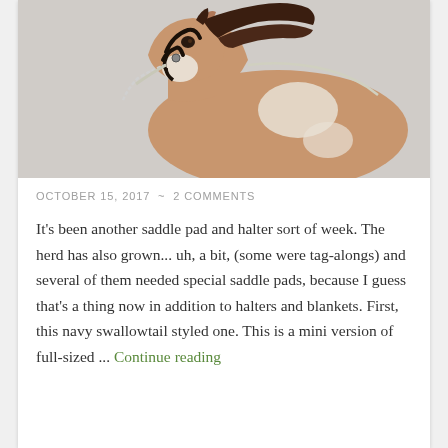[Figure (photo): Close-up photo of a model horse (Breyer-style) with a brown and white paint pattern, dark brown mane, and a black halter with a rope lead. The horse is posed against a light grey background.]
OCTOBER 15, 2017  ~  2 COMMENTS
It's been another saddle pad and halter sort of week. The herd has also grown... uh, a bit, (some were tag-alongs) and several of them needed special saddle pads, because I guess that's a thing now in addition to halters and blankets. First, this navy swallowtail styled one. This is a mini version of full-sized ... Continue reading